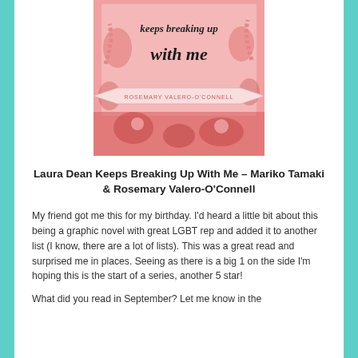[Figure (illustration): Book cover of 'Laura Dean Keeps Breaking Up With Me' by Rosemary Valero-O'Connell. Pink illustrated cover showing the title text in hand-lettering style with floral and animal decorations. A banner ribbon reads 'ROSEMARY VALERO-O'CONNELL'.]
Laura Dean Keeps Breaking Up With Me – Mariko Tamaki & Rosemary Valero-O'Connell
My friend got me this for my birthday. I'd heard a little bit about this being a graphic novel with great LGBT rep and added it to another list (I know, there are a lot of lists). This was a great read and surprised me in places. Seeing as there is a big 1 on the side I'm hoping this is the start of a series, another 5 star!
What did you read in September? Let me know in the